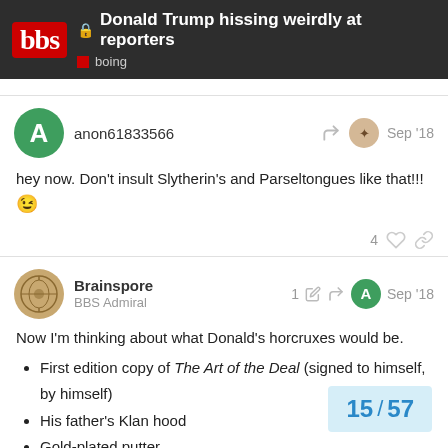Donald Trump hissing weirdly at reporters | boing
anon61833566  Sep '18
hey now. Don't insult Slytherin's and Parseltongues like that!!!
😉
Brainspore  BBS Admiral  1 edit  Sep '18
Now I'm thinking about what Donald's horcruxes would be.
• First edition copy of The Art of the Deal (signed to himself, by himself)
• His father's Klan hood
• Gold-plated putter